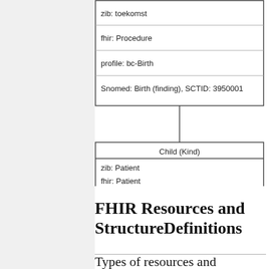[Figure (flowchart): Partial UML/FHIR diagram showing two boxes connected by a vertical line. Top box contains: zib: toekomst, fhir: Procedure, profile: bc-Birth, Snomed: Birth (finding), SCTID: 3950001. Bottom box has header 'Child (Kind)' and rows: zib: Patient, fhir: Patient, profile: bc-Child.]
FHIR Resources and StructureDefinitions
Types of resources and relations between them